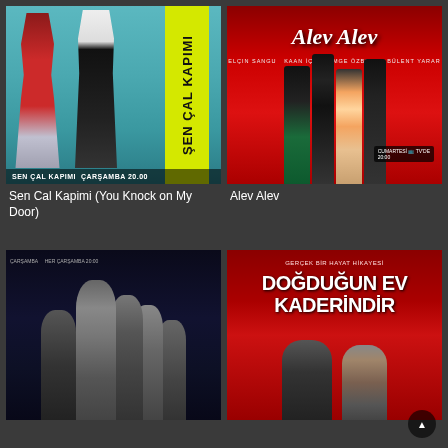[Figure (photo): Poster for 'Sen Çal Kapımı' (You Knock on My Door) Turkish TV show - couple in teal background with yellow vertical title bar]
Sen Cal Kapimi (You Knock on My Door)
[Figure (photo): Poster for 'Alev Alev' Turkish TV show - four actors in formal wear on red background]
Alev Alev
[Figure (photo): Poster for unnamed mystery/thriller Turkish TV show - dark blue toned group of actors]
[Figure (photo): Poster for 'Doğduğun Ev Kaderindir' Turkish TV show - text over red background with couple below]